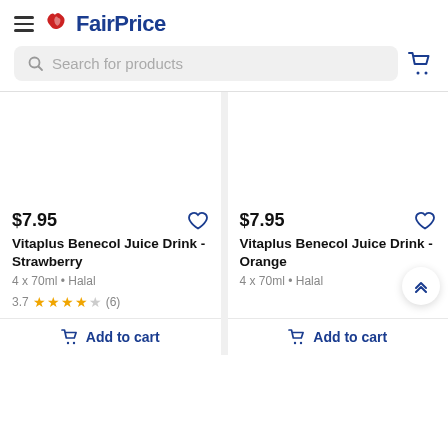FairPrice
Search for products
$7.95
Vitaplus Benecol Juice Drink - Strawberry
4 x 70ml • Halal
3.7 (6)
$7.95
Vitaplus Benecol Juice Drink - Orange
4 x 70ml • Halal
Add to cart
Add to cart